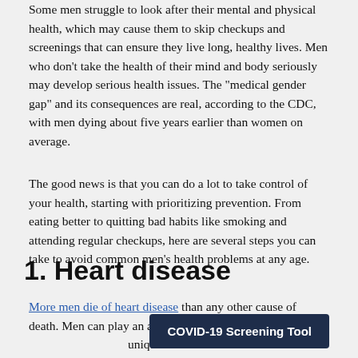Some men struggle to look after their mental and physical health, which may cause them to skip checkups and screenings that can ensure they live long, healthy lives. Men who don't take the health of their mind and body seriously may develop serious health issues. The "medical gender gap" and its consequences are real, according to the CDC, with men dying about five years earlier than women on average.
The good news is that you can do a lot to take control of your health, starting with prioritizing prevention. From eating better to quitting bad habits like smoking and attending regular checkups, here are several steps you can take to avoid common men's health problems at any age.
1. Heart disease
More men die of heart disease than any other cause of death. Men can play an active role in their heart health by understanding their unique risk factors. This should include eating a diet rich in fruits and veggies, quitting smoking, staying active, reducing stress